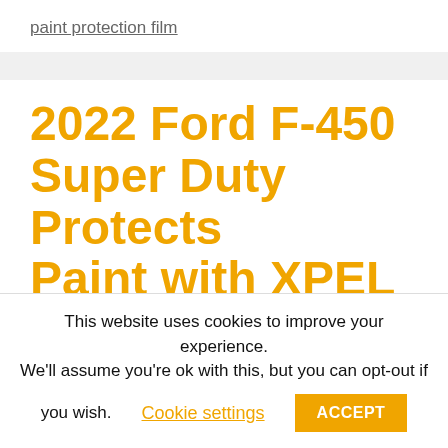paint protection film
2022 Ford F-450 Super Duty Protects Paint with XPEL ULTIMATE PLUS PPF
February 11, 2022 by jgarcia
This website uses cookies to improve your experience. We'll assume you're ok with this, but you can opt-out if you wish. Cookie settings ACCEPT